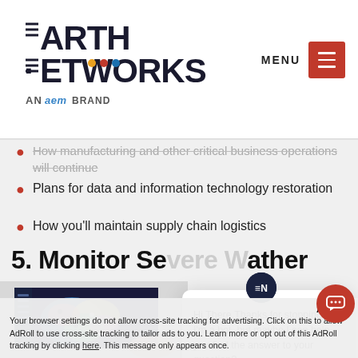Earth Networks — An AEM Brand
How manufacturing and other critical business operations will continue
Plans for data and information technology restoration
How you'll maintain supply chain logistics
5. Monitor Severe Weather
[Figure (screenshot): Screenshot of a weather monitoring app on a tablet device showing a colorful radar/map display]
[Figure (other): Chatbot popup with Earth Networks logo icon, close button, and message: Hi There, Thanks for stopping by. I'm a bot, but maybe I can help you find the answer to your question?]
Accept × Your browser settings do not allow cross-site tracking for advertising. Click on this to allow AdRoll to use cross-site tracking to tailor ads to you. Learn more or opt out of this AdRoll tracking by clicking here. This message only appears once.